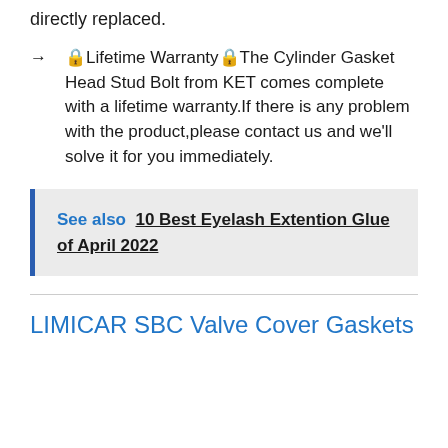directly replaced.
🔒Lifetime Warranty🔒The Cylinder Gasket Head Stud Bolt from KET comes complete with a lifetime warranty.If there is any problem with the product,please contact us and we'll solve it for you immediately.
See also  10 Best Eyelash Extention Glue of April 2022
LIMICAR SBC Valve Cover Gaskets